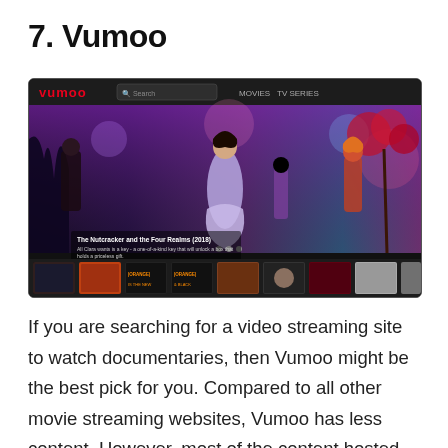7. Vumoo
[Figure (screenshot): Screenshot of the Vumoo video streaming website showing a dark navigation bar with the Vumoo logo in red, a search bar, and Movies/TV Series menu items. The main area displays a banner for 'The Nutcracker and the Four Realms (2018)' with fantasy movie artwork showing characters in colorful costumes. Below the banner is a row of TV show thumbnails including Orange Is the New Black.]
If you are searching for a video streaming site to watch documentaries, then Vumoo might be the best pick for you. Compared to all other movie streaming websites, Vumoo has less content. However, most of the content hosted on the site